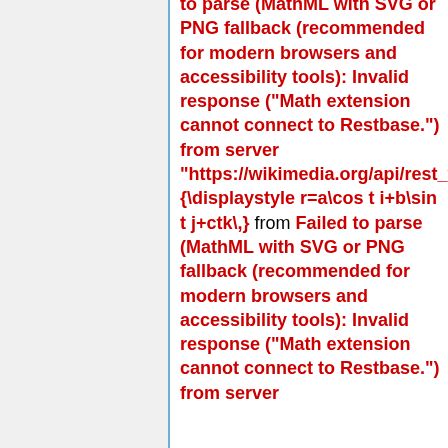to parse (MathML with SVG or PNG fallback (recommended for modern browsers and accessibility tools): Invalid response ("Math extension cannot connect to Restbase.") from server "https://wikimedia.org/api/rest_v1/ {\displaystyle r=a\cos t i+b\sin t j+ctk\,} from Failed to parse (MathML with SVG or PNG fallback (recommended for modern browsers and accessibility tools): Invalid response ("Math extension cannot connect to Restbase.") from server